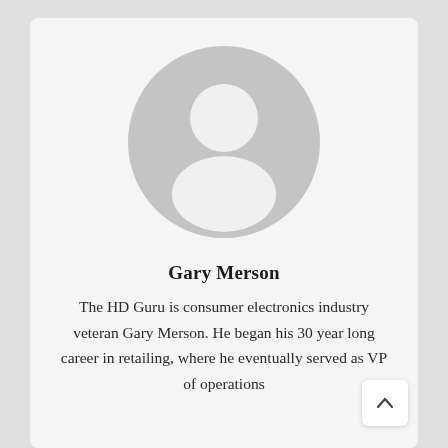[Figure (illustration): Generic user avatar placeholder: a circle with a white silhouette of a person (head and shoulders) on a light gray background.]
Gary Merson
The HD Guru is consumer electronics industry veteran Gary Merson. He began his 30 year long career in retailing, where he eventually served as VP of operations